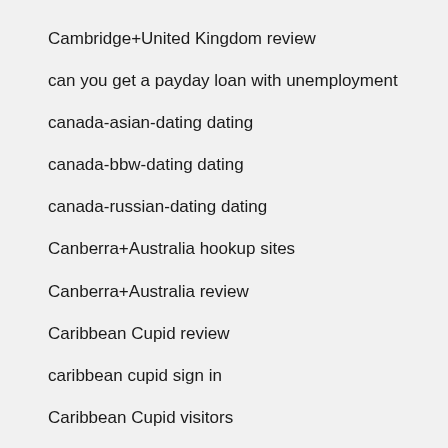Cambridge+United Kingdom review
can you get a payday loan with unemployment
canada-asian-dating dating
canada-bbw-dating dating
canada-russian-dating dating
Canberra+Australia hookup sites
Canberra+Australia review
Caribbean Cupid review
caribbean cupid sign in
Caribbean Cupid visitors
caribbeancupid.cs review